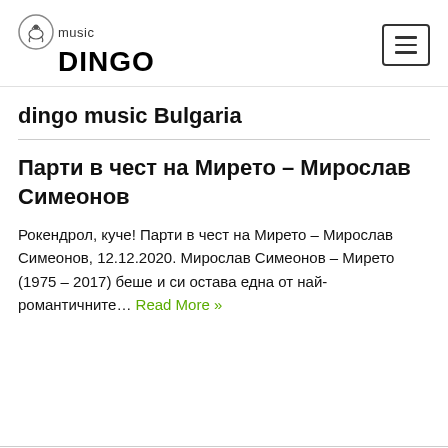music DINGO [logo with hamburger menu button]
dingo music Bulgaria
Парти в чест на Мирето – Мирослав Симеонов
Рокендрол, куче! Парти в чест на Мирето – Мирослав Симеонов, 12.12.2020. Мирослав Симеонов – Мирето (1975 – 2017) беше и си остава една от най-романтичните… Read More »